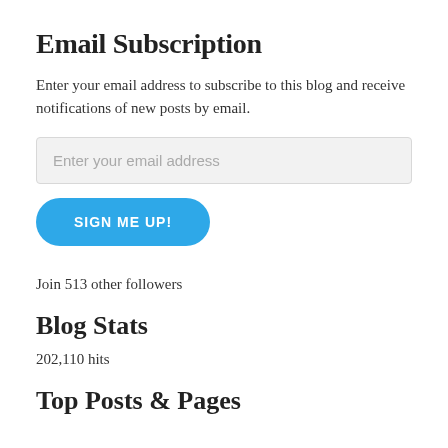Email Subscription
Enter your email address to subscribe to this blog and receive notifications of new posts by email.
[Figure (screenshot): Email input field with placeholder text 'Enter your email address']
[Figure (screenshot): Blue rounded button with text 'SIGN ME UP!']
Join 513 other followers
Blog Stats
202,110 hits
Top Posts & Pages